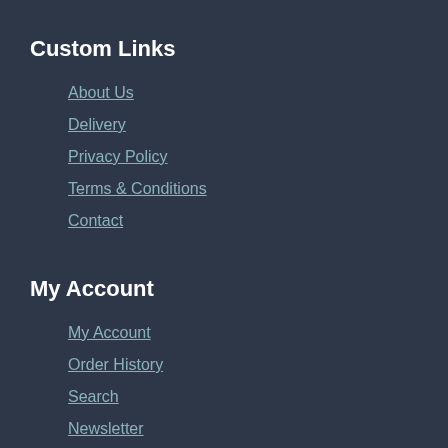Custom Links
About Us
Delivery
Privacy Policy
Terms & Conditions
Contact
My Account
My Account
Order History
Search
Newsletter
Returns
underwear-sale.com